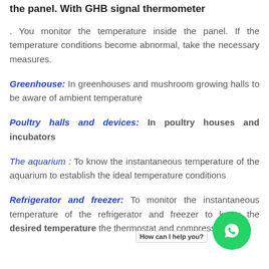the panel. With GHB signal thermometer
. You monitor the temperature inside the panel. If the temperature conditions become abnormal, take the necessary measures.
Greenhouse: In greenhouses and mushroom growing halls to be aware of ambient temperature
Poultry halls and devices: In poultry houses and incubators
The aquarium : To know the instantaneous temperature of the aquarium to establish the ideal temperature conditions
Refrigerator and freezer: To monitor the instantaneous temperature of the refrigerator and freezer to know the desired temperature the thermostat and compressor
[Figure (other): WhatsApp chat button (green circle with WhatsApp icon) and 'How can I help you?' label overlay]